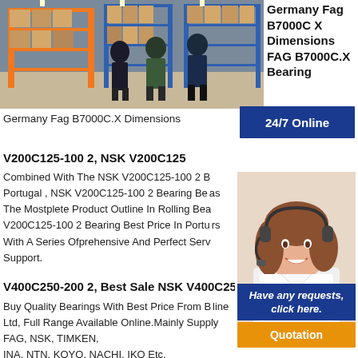[Figure (photo): People in a warehouse with metal shelving racks holding boxes and industrial bearings]
Germany Fag B7000C X Dimensions FAG B7000C.X Bearing
Germany Fag B7000C.X Dimensions
24/7 Online
V200C125-100 2, NSK V200C125
Combined With The NSK V200C125-100 2 B Portugal , NSK V200C125-100 2 Bearing Be as The Mostplete Product Outline In Rolling Bea V200C125-100 2 Bearing Best Price In Portu rs With A Series Ofprehensive And Perfect Serv Support.
[Figure (photo): Customer service woman wearing a headset, smiling]
Have any requests, click here.
Quotation
V400C250-200 2, Best Sale NSK V400C250
Buy Quality Bearings With Best Price From B line Ltd, Full Range Available Online.Mainly Supply FAG, NSK, TIMKEN, INA, NTN, KOYO, NACHI, IKO Etc.